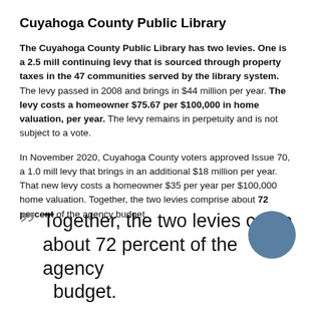Cuyahoga County Public Library
The Cuyahoga County Public Library has two levies. One is a 2.5 mill continuing levy that is sourced through property taxes in the 47 communities served by the library system. The levy passed in 2008 and brings in $44 million per year. The levy costs a homeowner $75.67 per $100,000 in home valuation, per year. The levy remains in perpetuity and is not subject to a vote.
In November 2020, Cuyahoga County voters approved Issue 70, a 1.0 mill levy that brings in an additional $18 million per year. That new levy costs a homeowner $35 per year per $100,000 home valuation. Together, the two levies comprise about 72 percent of the agency budget.
Together, the two levies comprise about 72 percent of the agency budget.